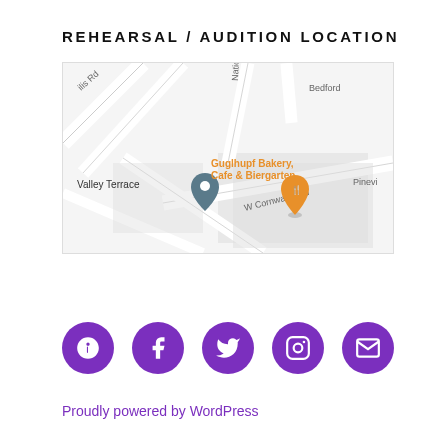REHEARSAL / AUDITION LOCATION
[Figure (map): Google Maps screenshot showing area around Valley Terrace with a location pin, W Cornwallis Rd, Guglhupf Bakery Cafe & Biergarten marker, Bedford label, and Pinevi label visible.]
[Figure (infographic): Row of five purple circular social media icons: Yelp, Facebook, Twitter, Instagram, and Email.]
Proudly powered by WordPress